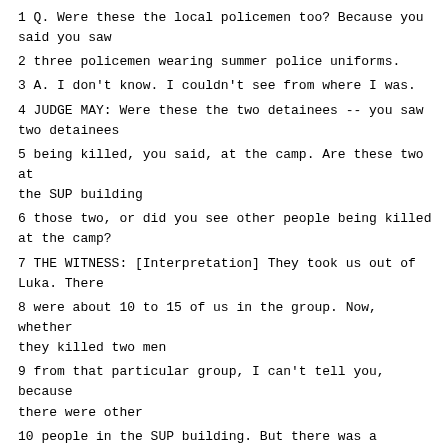1 Q. Were these the local policemen too? Because you said you saw
2 three policemen wearing summer police uniforms.
3 A. I don't know. I couldn't see from where I was.
4 JUDGE MAY: Were these the two detainees -- you saw two detainees
5 being killed, you said, at the camp. Are these two at the SUP building
6 those two, or did you see other people being killed at the camp?
7 THE WITNESS: [Interpretation] They took us out of Luka. There
8 were about 10 to 15 of us in the group. Now, whether they killed two men
9 from that particular group, I can't tell you, because there were other
10 people in the SUP building. But there was a general noise and commotion,
11 and when that happened, I heard people rush up the stairs and say, "Where
12 are the others? Kill the others too." That's what